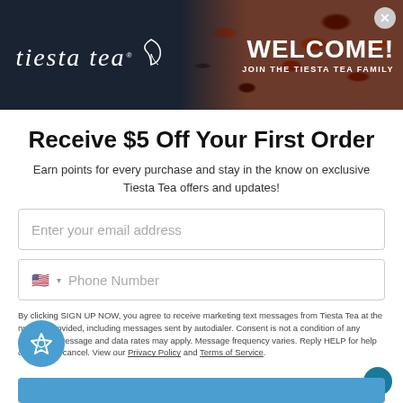[Figure (illustration): Tiesta Tea welcome banner with logo on dark navy background left side and loose leaf tea texture on right side with 'WELCOME! JOIN THE TIESTA TEA FAMILY' text]
Receive $5 Off Your First Order
Earn points for every purchase and stay in the know on exclusive Tiesta Tea offers and updates!
Enter your email address
Phone Number
By clicking SIGN UP NOW, you agree to receive marketing text messages from Tiesta Tea at the number provided, including messages sent by autodialer. Consent is not a condition of any purchase. Message and data rates may apply. Message frequency varies. Reply HELP for help or STOP to cancel. View our Privacy Policy and Terms of Service.